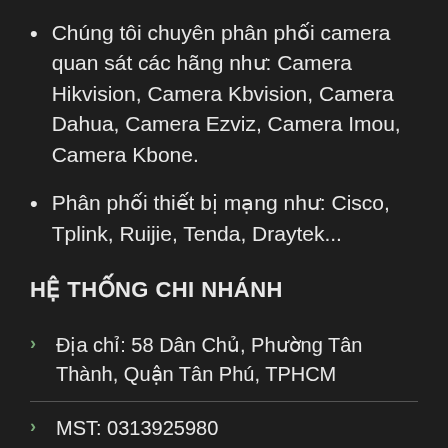Chúng tôi chuyên phân phối camera quan sát các hãng như: Camera Hikvision, Camera Kbvision, Camera Dahua, Camera Ezviz, Camera Imou, Camera Kbone.
Phân phối thiết bị mạng như: Cisco, Tplink, Ruijie, Tenda, Draytek...
HỆ THỐNG CHI NHÁNH
Địa chỉ: 58 Dân Chủ, Phường Tân Thành, Quận Tân Phú, TPHCM
MST: 0313925980
THÔNG TIN LIÊN HỆ